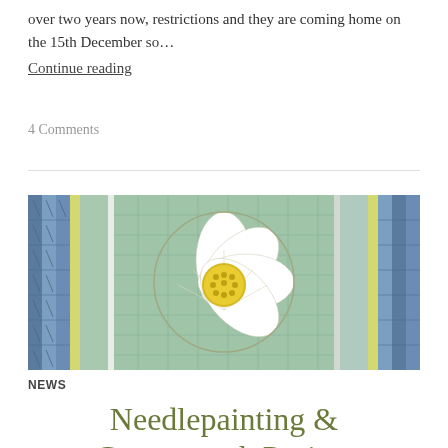over two years now, restrictions and they are coming home on the 15th December so…
Continue reading
4 Comments
[Figure (photo): Close-up of needlepoint/canvaswork embroidery showing a white flower with yellow center on a blue and green geometric background]
NEWS
Needlepainting & Canvaswork Project